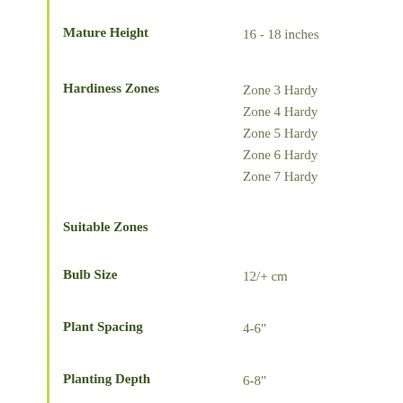Mature Height: 16 - 18 inches
Hardiness Zones: Zone 3 Hardy, Zone 4 Hardy, Zone 5 Hardy, Zone 6 Hardy, Zone 7 Hardy
Suitable Zones
Bulb Size: 12/+ cm
Plant Spacing: 4-6"
Planting Depth: 6-8"
Sunlight: Full Sun